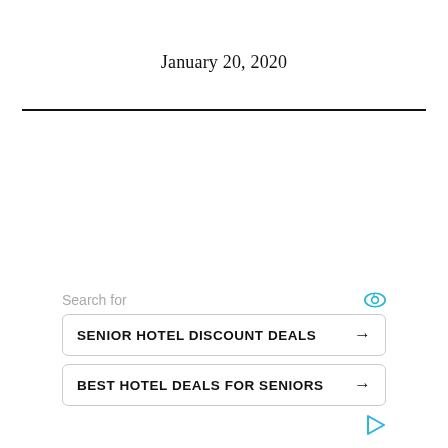January 20, 2020
[Figure (other): Horizontal black divider line]
Search for
SENIOR HOTEL DISCOUNT DEALS →
BEST HOTEL DEALS FOR SENIORS →